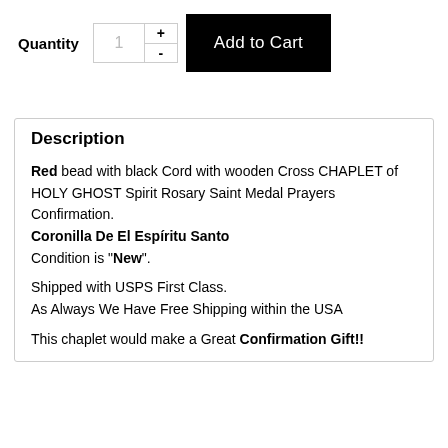Quantity  1  +  -  Add to Cart
Description
Red bead with black Cord with wooden Cross CHAPLET of HOLY GHOST Spirit Rosary Saint Medal Prayers Confirmation.
Coronilla De El Espíritu Santo
Condition is "New".

Shipped with USPS First Class.
As Always We Have Free Shipping within the USA

This chaplet would make a Great Confirmation Gift!!